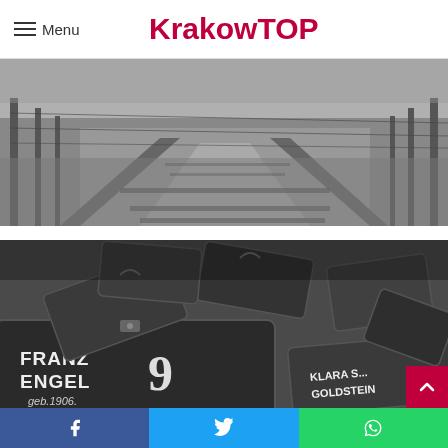KrakowTOP
[Figure (photo): Black and white photograph of train tracks at Auschwitz-Birkenau concentration camp, with fence posts and railway lines receding into the distance]
[Figure (photo): Black and white photograph of a pile of suitcases at Auschwitz, with names written on them including 'FRANZ ENGEL' and 'KLARA S... GOLDSTEIN']
Facebook share | Twitter share | WhatsApp share